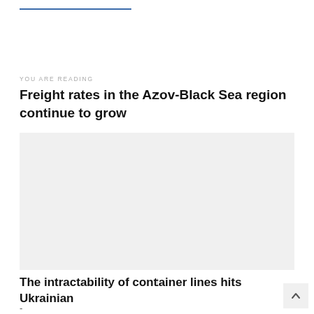YOU ARE READING
Freight rates in the Azov-Black Sea region continue to grow
[Figure (photo): Light gray placeholder image area for article photo]
The intractability of container lines hits Ukrainian
-